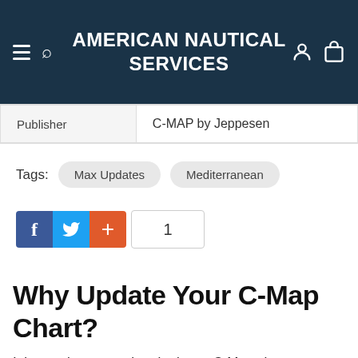American Nautical Services
| Publisher | C-MAP by Jeppesen |
Tags: Max Updates  Mediterranean
[Figure (infographic): Social share buttons: Facebook (blue), Twitter (light blue), plus/share (orange-red), and a count badge showing 1]
Why Update Your C-Map Chart?
It is very important that the latest C-Map charts are used